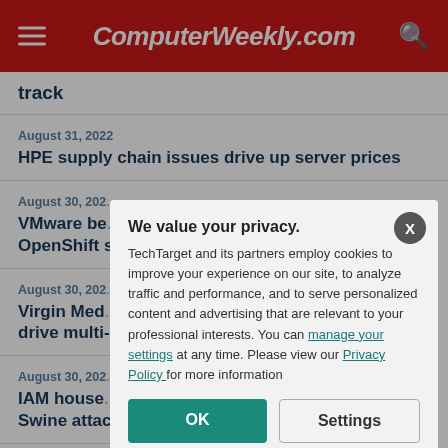ComputerWeekly.com
track
August 31, 2022
HPE supply chain issues drive up server prices
August 30, 202...
VMware be... OpenShift s...
August 30, 202...
Virgin Med... drive multi-...
August 30, 202...
IAM house... Swine attac...
August 30, 202...
We value your privacy. TechTarget and its partners employ cookies to improve your experience on our site, to analyze traffic and performance, and to serve personalized content and advertising that are relevant to your professional interests. You can manage your settings at any time. Please view our Privacy Policy for more information
OK
Settings